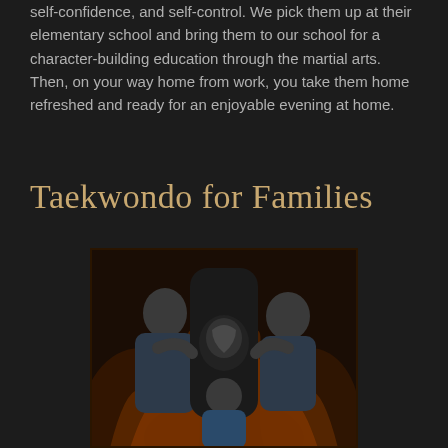self-confidence, and self-control. We pick them up at their elementary school and bring them to our school for a character-building education through the martial arts. Then, on your way home from work, you take them home refreshed and ready for an enjoyable evening at home.
Taekwondo for Families
[Figure (photo): A family group photo in a taekwondo school setting, showing two adults and a child posing with martial arts equipment including a kicking pad with a tiger logo, against a dark background with flame-like decorations]